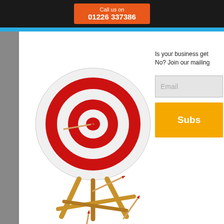Call us on 01226 337386
[Figure (illustration): Archery target on a wooden easel stand with arrows hitting and missing the target, on a white background]
Is your business get No? Join our mailing
Email
Subs